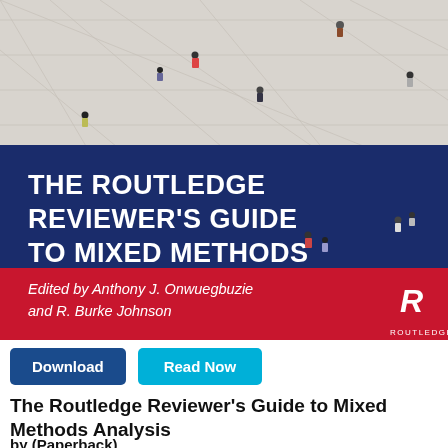[Figure (illustration): Book cover of 'The Routledge Reviewer's Guide to Mixed Methods Analysis'. Top half shows an aerial photo of people walking on a tiled plaza. Middle section has a dark navy blue band with white bold text reading 'THE ROUTLEDGE REVIEWER'S GUIDE TO MIXED METHODS ANALYSIS'. Bottom portion shows people on the plaza again, then a red band reading 'Edited by Anthony J. Onwuegbuzie and R. Burke Johnson' with the Routledge logo on the right.]
Download   Read Now
The Routledge Reviewer's Guide to Mixed Methods Analysis
by (Paperback)